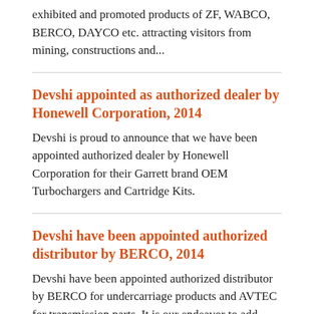exhibited and promoted products of ZF, WABCO, BERCO, DAYCO etc. attracting visitors from mining, constructions and...
Devshi appointed as authorized dealer by Honewell Corporation, 2014
Devshi is proud to announce that we have been appointed authorized dealer by Honewell Corporation for their Garrett brand OEM Turbochargers and Cartridge Kits.
Devshi have been appointed authorized distributor by BERCO, 2014
Devshi have been appointed authorized distributor by BERCO for undercarriage products and AVTEC for transmission parts. It is our endeavor to add more